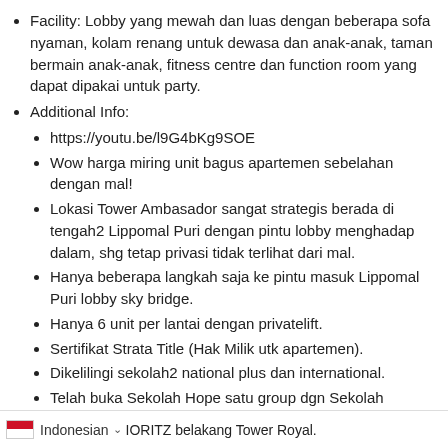Facility: Lobby yang mewah dan luas dengan beberapa sofa nyaman, kolam renang untuk dewasa dan anak-anak, taman bermain anak-anak, fitness centre dan function room yang dapat dipakai untuk party.
Additional Info:
https://youtu.be/l9G4bKg9SOE
Wow harga miring unit bagus apartemen sebelahan dengan mal!
Lokasi Tower Ambasador sangat strategis berada di tengah2 Lippomal Puri dengan pintu lobby menghadap dalam, shg tetap privasi tidak terlihat dari mal.
Hanya beberapa langkah saja ke pintu masuk Lippomal Puri lobby sky bridge.
Hanya 6 unit per lantai dengan privatelift.
Sertifikat Strata Title (Hak Milik utk apartemen).
Dikelilingi sekolah2 national plus dan international.
Telah buka Sekolah Hope satu group dgn Sekolah MORITZ belakang Tower Royal.
Indonesian | IORITZ belakang Tower Royal.